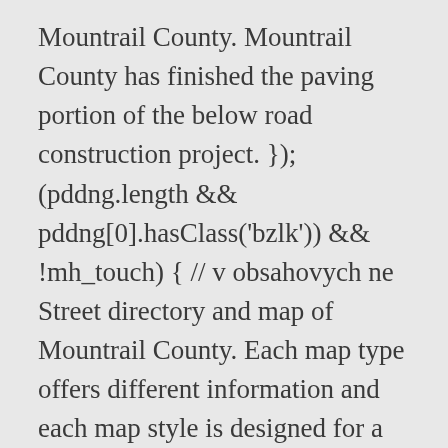Mountrail County. Mountrail County has finished the paving portion of the below road construction project. }); (pddng.length && pddng[0].hasClass('bzlk')) && !mh_touch) { // v obsahovych ne Street directory and map of Mountrail County. Each map type offers different information and each map style is designed for a different purpose. Just like any other image. Thanks to automating the complex process of turning data into map graphics, we are able to create maps in higher quality, faster and cheaper than was possible before. Cities Countries GMT time UTC time AM and PM. Within the context of local street searches, angles and compass directions are very important, as well as ensuring that